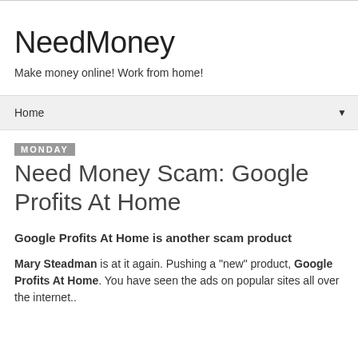NeedMoney
Make money online! Work from home!
Home ▼
Monday
Need Money Scam: Google Profits At Home
Google Profits At Home is another scam product
Mary Steadman is at it again. Pushing a "new" product, Google Profits At Home. You have seen the ads on popular sites all over the internet..